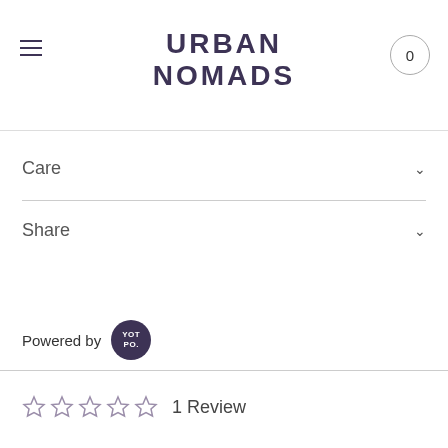URBAN NOMADS
Care
Share
Powered by YOTPO
1 Review